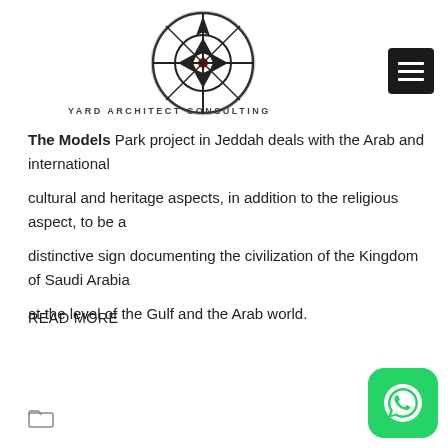[Figure (logo): Yard Architect Consulting circular logo with compass/cross design in black and white]
YARD ARCHITECT CONSULTING
The Models Park project in Jeddah deals with the Arab and international cultural and heritage aspects, in addition to the religious aspect, to be a distinctive sign documenting the civilization of the Kingdom of Saudi Arabia at the level of the Gulf and the Arab world.
READ MORE
[Figure (illustration): Folder icon (empty/outline)]
[Figure (logo): WhatsApp button icon - green rounded square with phone handset logo]